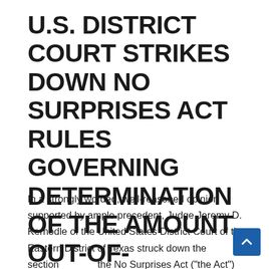U.S. DISTRICT COURT STRIKES DOWN NO SURPRISES ACT RULES GOVERNING DETERMINATION OF THE AMOUNT OUT-OF-NETWORK PROVIDERS ARE PAID
In a strongly worded, well-reasoned opinion supported by ample precedent, Judge Jeremy D. Kernodle of the United States District Court of the Eastern District of Texas struck down the section of the No Surprises Act ("the Act") rules governing how arbitrators are to determine the amount paid to out-of-network providers. The